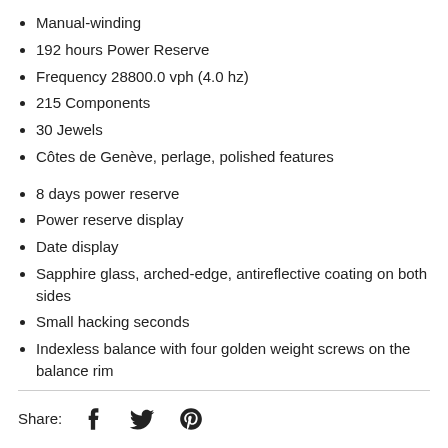Manual-winding
192 hours Power Reserve
Frequency 28800.0 vph (4.0 hz)
215 Components
30 Jewels
Côtes de Genève, perlage, polished features
8 days power reserve
Power reserve display
Date display
Sapphire glass, arched-edge, antireflective coating on both sides
Small hacking seconds
Indexless balance with four golden weight screws on the balance rim
Share: